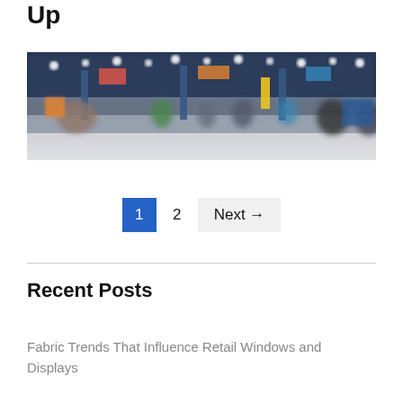Up
[Figure (photo): Blurred wide-angle photo of a large convention hall or trade show floor with people walking, colorful banners, and bright overhead lights.]
1  2  Next →
Recent Posts
Fabric Trends That Influence Retail Windows and Displays